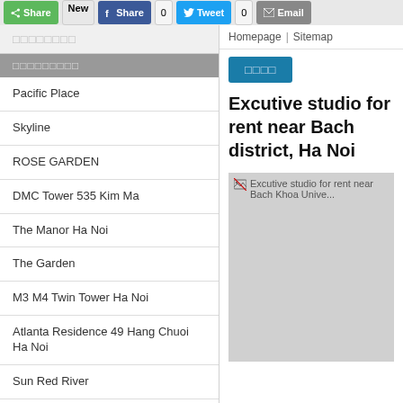Share | New | Share | 0 | Tweet | 0 | Email
□□□□□□□□
□□□□□□□□□
Pacific Place
Skyline
ROSE GARDEN
DMC Tower 535 Kim Ma
The Manor Ha Noi
The Garden
M3 M4 Twin Tower Ha Noi
Atlanta Residence 49 Hang Chuoi Ha Noi
Sun Red River
Golden Lodge Resort 2 Tay Ho Road
Homepage | Sitemap
Excutive studio for rent near Bach district, Ha Noi
[Figure (photo): Broken image placeholder for Excutive studio for rent near Bach Khoa University]